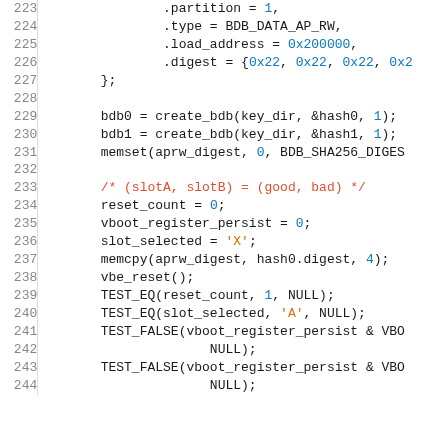[Figure (screenshot): Source code listing lines 223-244 in C, showing code for partition/type/load_address/digest fields, create_bdb calls, memset, and test assertions for vboot slot selection.]